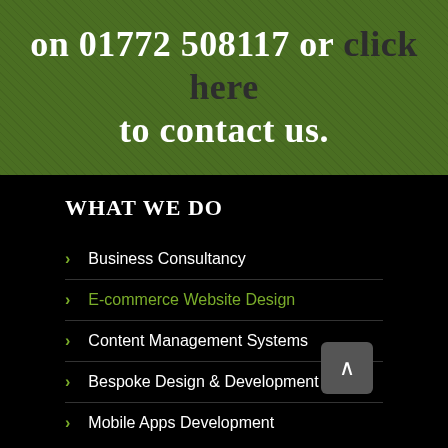on 01772 508117 or click here to contact us.
WHAT WE DO
Business Consultancy
E-commerce Website Design
Content Management Systems
Bespoke Design & Development
Mobile Apps Development